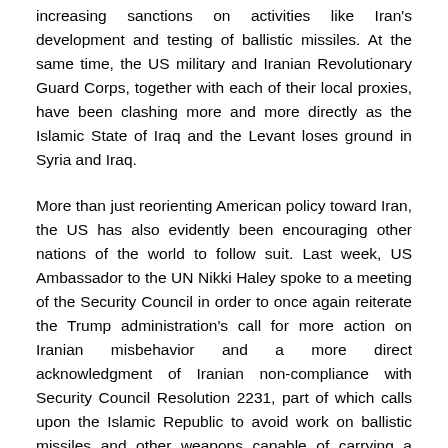increasing sanctions on activities like Iran's development and testing of ballistic missiles. At the same time, the US military and Iranian Revolutionary Guard Corps, together with each of their local proxies, have been clashing more and more directly as the Islamic State of Iraq and the Levant loses ground in Syria and Iraq.
More than just reorienting American policy toward Iran, the US has also evidently been encouraging other nations of the world to follow suit. Last week, US Ambassador to the UN Nikki Haley spoke to a meeting of the Security Council in order to once again reiterate the Trump administration's call for more action on Iranian misbehavior and a more direct acknowledgment of Iranian non-compliance with Security Council Resolution 2231, part of which calls upon the Islamic Republic to avoid work on ballistic missiles and other weapons capable of carrying a nuclear warhead.